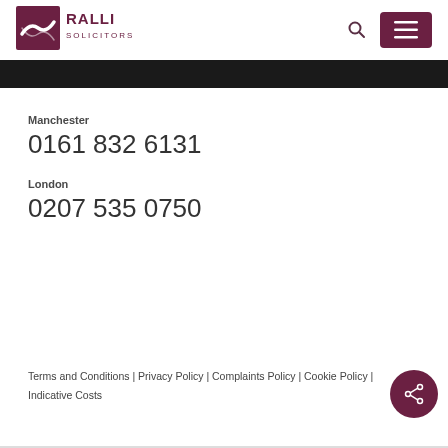[Figure (logo): Ralli Solicitors logo — dark red shield with white wave mark, text RALLI SOLICITORS]
Manchester
0161 832 6131
London
0207 535 0750
Terms and Conditions | Privacy Policy | Complaints Policy | Cookie Policy | Indicative Costs